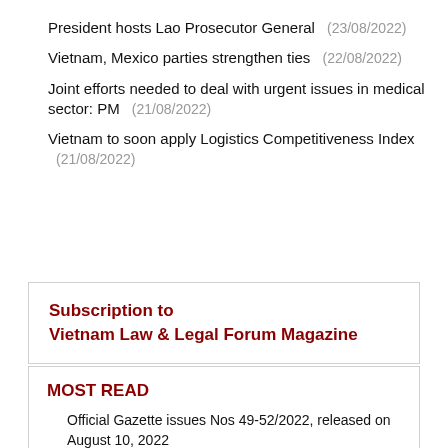President hosts Lao Prosecutor General (23/08/2022)
Vietnam, Mexico parties strengthen ties (22/08/2022)
Joint efforts needed to deal with urgent issues in medical sector: PM (21/08/2022)
Vietnam to soon apply Logistics Competitiveness Index (21/08/2022)
Subscription to Vietnam Law & Legal Forum Magazine
MOST READ
Official Gazette issues Nos 49-52/2022, released on August 10, 2022